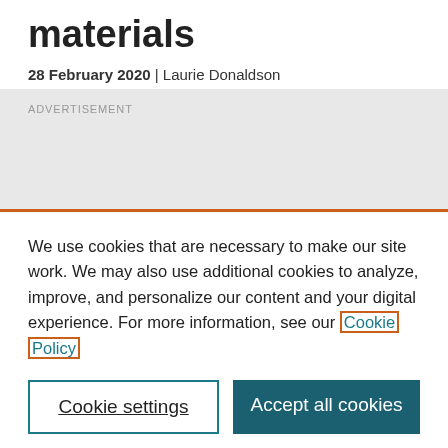materials
28 February 2020 | Laurie Donaldson
ADVERTISEMENT
We use cookies that are necessary to make our site work. We may also use additional cookies to analyze, improve, and personalize our content and your digital experience. For more information, see our Cookie Policy
Cookie settings
Accept all cookies